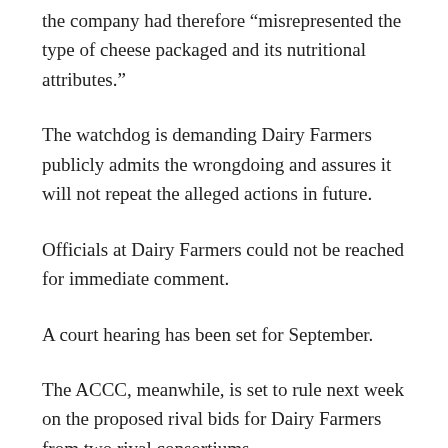the company had therefore “misrepresented the type of cheese packaged and its nutritional attributes.”
The watchdog is demanding Dairy Farmers publicly admits the wrongdoing and assures it will not repeat the alleged actions in future.
Officials at Dairy Farmers could not be reached for immediate comment.
A court hearing has been set for September.
The ACCC, meanwhile, is set to rule next week on the proposed rival bids for Dairy Farmers from two rival consortiums.